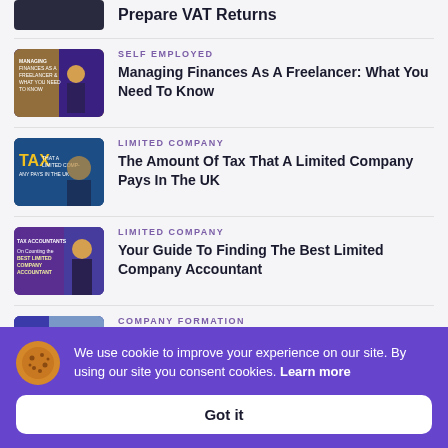Prepare VAT Returns
SELF EMPLOYED
Managing Finances As A Freelancer: What You Need To Know
LIMITED COMPANY
The Amount Of Tax That A Limited Company Pays In The UK
LIMITED COMPANY
Your Guide To Finding The Best Limited Company Accountant
COMPANY FORMATION
We use cookie to improve your experience on our site. By using our site you consent cookies. Learn more
Got it